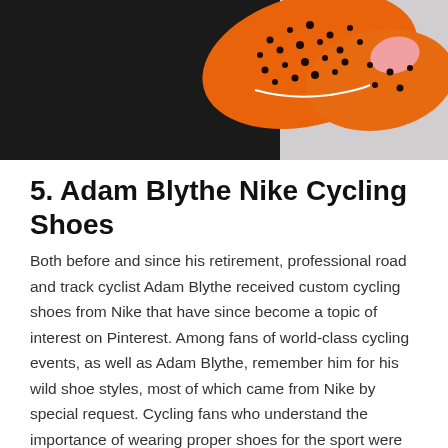[Figure (photo): Close-up photo of orange Nike cycling shoes with black speckled pattern on a dark background]
5. Adam Blythe Nike Cycling Shoes
Both before and since his retirement, professional road and track cyclist Adam Blythe received custom cycling shoes from Nike that have since become a topic of interest on Pinterest. Among fans of world-class cycling events, as well as Adam Blythe, remember him for his wild shoe styles, most of which came from Nike by special request. Cycling fans who understand the importance of wearing proper shoes for the sport were somewhat miffed that Nike made these beauties for pros like Blythe, but not for the rest of cycling enthusiasts. Now that Nike has officially launched its first line of cycling shoes to the public, we hope the styles designed for Adam Blythe will be available